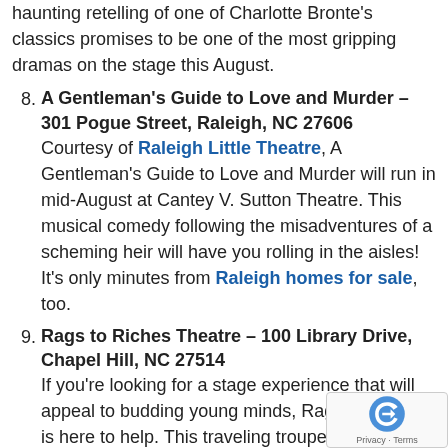haunting retelling of one of Charlotte Bronte's classics promises to be one of the most gripping dramas on the stage this August.
A Gentleman's Guide to Love and Murder – 301 Pogue Street, Raleigh, NC 27606
Courtesy of Raleigh Little Theatre, A Gentleman's Guide to Love and Murder will run in mid-August at Cantey V. Sutton Theatre. This musical comedy following the misadventures of a scheming heir will have you rolling in the aisles! It's only minutes from Raleigh homes for sale, too.
Rags to Riches Theatre – 100 Library Drive, Chapel Hill, NC 27514
If you're looking for a stage experience that will appeal to budding young minds, Rags to Riches is here to help. This traveling troupe puts family-friendly stories of history, literature, the fantastic. On August 9, the show visits the